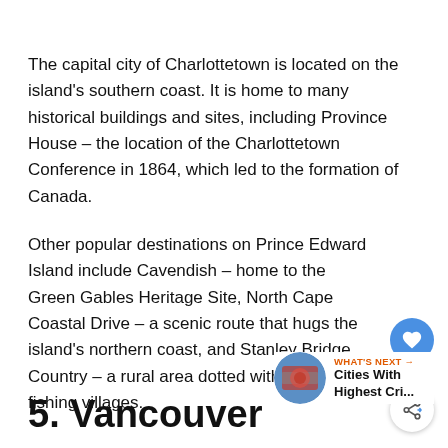The capital city of Charlottetown is located on the island's southern coast. It is home to many historical buildings and sites, including Province House – the location of the Charlottetown Conference in 1864, which led to the formation of Canada.
Other popular destinations on Prince Edward Island include Cavendish – home to the Green Gables Heritage Site, North Cape Coastal Drive – a scenic route that hugs the island's northern coast, and Stanley Bridge Country – a rural area dotted with farms and fishing villages.
5. Vancouver